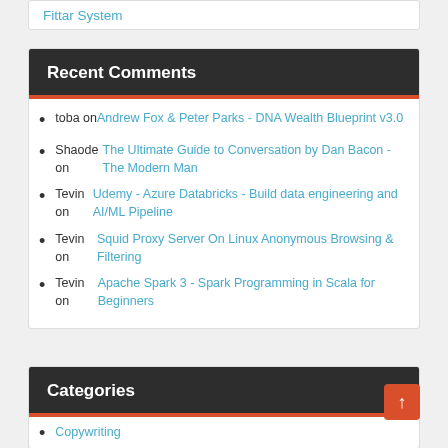Fittar System
Recent Comments
toba on Andrew Fox & Peter Parks - DNA Wealth Blueprint v3.0
Shaode on The Ultimate Guide to Conversation by Dan Bacon - The Modern Man
Tevin on Udemy - Azure Databricks - Build data engineering and AI/ML Pipeline
Tevin on Squid Proxy Server On Linux Anonymous Browsing & Filtering
Tevin on Apache Spark 3 - Spark Programming in Scala for Beginners
Categories
Copywriting